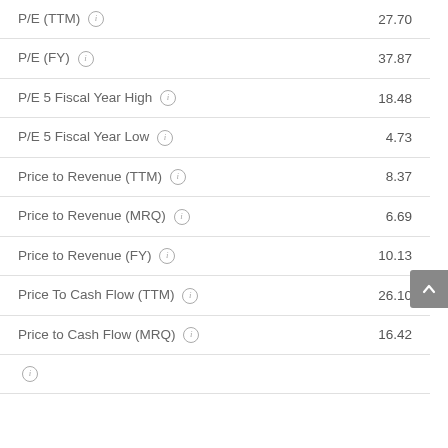| Metric | Value |
| --- | --- |
| P/E (TTM) | 27.70 |
| P/E (FY) | 37.87 |
| P/E 5 Fiscal Year High | 18.48 |
| P/E 5 Fiscal Year Low | 4.73 |
| Price to Revenue (TTM) | 8.37 |
| Price to Revenue (MRQ) | 6.69 |
| Price to Revenue (FY) | 10.13 |
| Price To Cash Flow (TTM) | 26.10 |
| Price to Cash Flow (MRQ) | 16.42 |